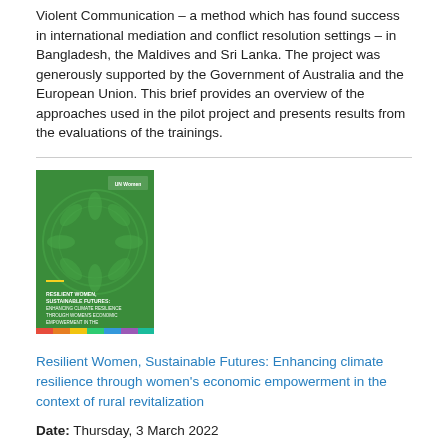Violent Communication – a method which has found success in international mediation and conflict resolution settings – in Bangladesh, the Maldives and Sri Lanka. The project was generously supported by the Government of Australia and the European Union. This brief provides an overview of the approaches used in the pilot project and presents results from the evaluations of the trainings.
[Figure (photo): Book cover of 'Resilient Women, Sustainable Futures: Enhancing climate resilience through women's economic empowerment in the context of rural revitalization' — green cover with UN Women branding and colorful bar at bottom]
Resilient Women, Sustainable Futures: Enhancing climate resilience through women's economic empowerment in the context of rural revitalization
Date: Thursday, 3 March 2022
UN Women is a lead technical partner for supporting gender mainstreaming in the programme. In 2021, in addition to the establishment of partnership, as a result of UN Women's advocacy and technical support, a Gender Action Plan has been developed